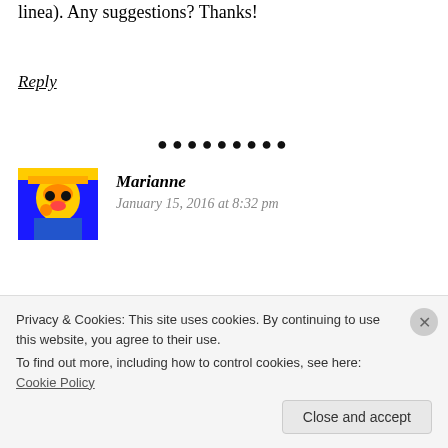linea). Any suggestions? Thanks!
Reply
[Figure (other): Row of black dots serving as a section separator]
[Figure (photo): Avatar photo of commenter Marianne - colorful pop-art style portrait]
Marianne
January 15, 2016 at 8:32 pm
You could have a look at Maro (small village), or
Privacy & Cookies: This site uses cookies. By continuing to use this website, you agree to their use. To find out more, including how to control cookies, see here: Cookie Policy
Close and accept